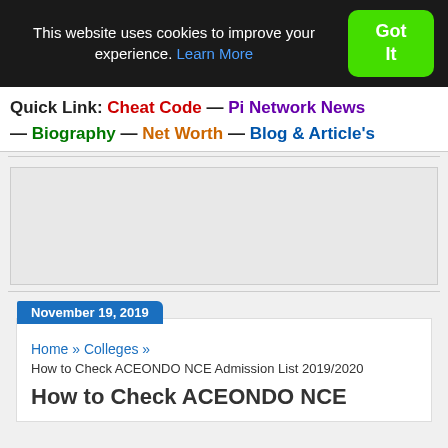This website uses cookies to improve your experience. Learn More
Got It
Quick Link: Cheat Code — Pi Network News — Biography — Net Worth — Blog & Article's
[Figure (other): Advertisement placeholder box]
November 19, 2019
Home » Colleges »
How to Check ACEONDO NCE Admission List 2019/2020
How to Check ACEONDO NCE